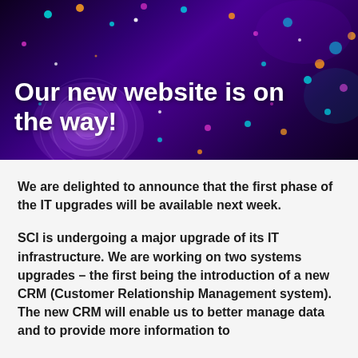[Figure (illustration): Dark purple abstract background with colorful bokeh dots and glowing light particles in cyan, orange, magenta, and white, with a swirling geometric spiral in the lower-left area.]
Our new website is on the way!
We are delighted to announce that the first phase of the IT upgrades will be available next week.
SCI is undergoing a major upgrade of its IT infrastructure. We are working on two systems upgrades – the first being the introduction of a new CRM (Customer Relationship Management system). The new CRM will enable us to better manage data and to provide more information to